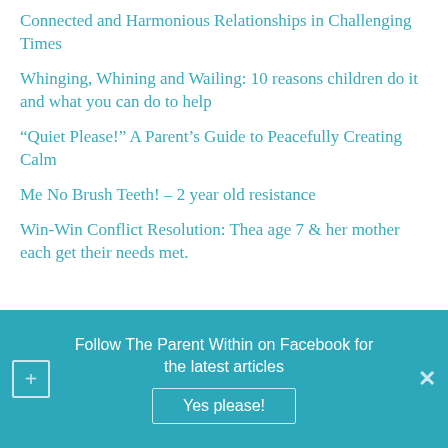Connected and Harmonious Relationships in Challenging Times
Whinging, Whining and Wailing: 10 reasons children do it and what you can do to help
“Quiet Please!” A Parent’s Guide to Peacefully Creating Calm
Me No Brush Teeth! – 2 year old resistance
Win-Win Conflict Resolution: Thea age 7 & her mother each get their needs met.
Follow The Parent Within on Facebook for the latest articles
Yes please!